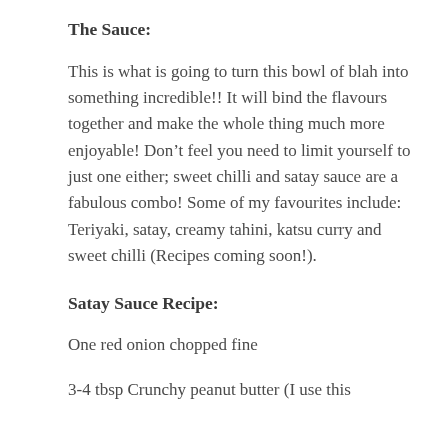The Sauce:
This is what is going to turn this bowl of blah into something incredible!! It will bind the flavours together and make the whole thing much more enjoyable! Don’t feel you need to limit yourself to just one either; sweet chilli and satay sauce are a fabulous combo! Some of my favourites include: Teriyaki, satay, creamy tahini, katsu curry and sweet chilli (Recipes coming soon!).
Satay Sauce Recipe:
One red onion chopped fine
3-4 tbsp Crunchy peanut butter (I use this